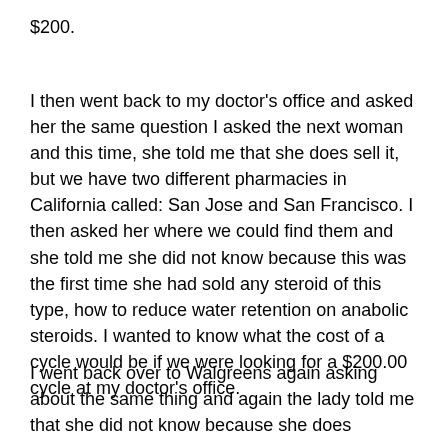$200.
I then went back to my doctor's office and asked her the same question I asked the next woman and this time, she told me that she does sell it, but we have two different pharmacies in California called: San Jose and San Francisco. I then asked her where we could find them and she told me she did not know because this was the first time she had sold any steroid of this type, how to reduce water retention on anabolic steroids. I wanted to know what the cost of a cycle would be if we were looking for a $200.00 cycle at my doctor's office.
I went back over to Walgreens again asking about the same thing and again the lady told me that she did not know because she does